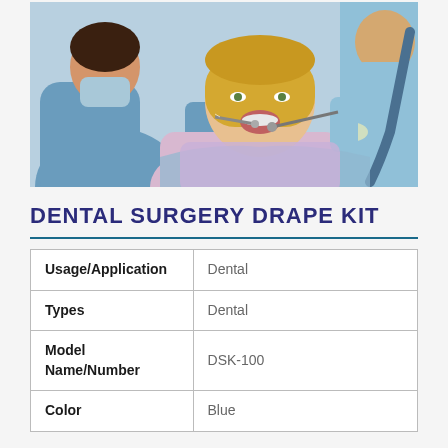[Figure (photo): Dental procedure scene showing a patient with open mouth being treated by two dental professionals in scrubs and gloves, with dental instruments]
DENTAL SURGERY DRAPE KIT
| Usage/Application | Dental |
| Types | Dental |
| Model Name/Number | DSK-100 |
| Color | Blue |